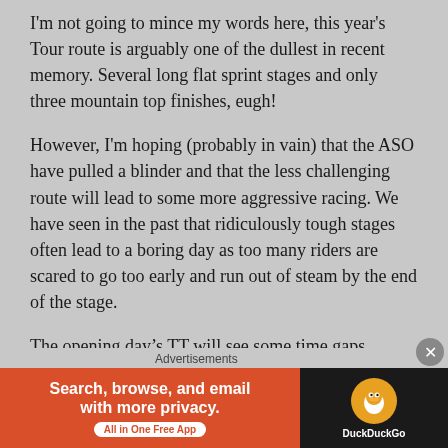I'm not going to mince my words here, this year's Tour route is arguably one of the dullest in recent memory. Several long flat sprint stages and only three mountain top finishes, eugh!
However, I'm hoping (probably in vain) that the ASO have pulled a blinder and that the less challenging route will lead to some more aggressive racing. We have seen in the past that ridiculously tough stages often lead to a boring day as too many riders are scared to go too early and run out of steam by the end of the stage.
The opening day's TT will see some time gaps between the GC favourites but they shouldn't be too
Advertisements
[Figure (other): DuckDuckGo advertisement banner: orange left panel with text 'Search, browse, and email with more privacy. All in One Free App' and dark right panel with DuckDuckGo logo.]